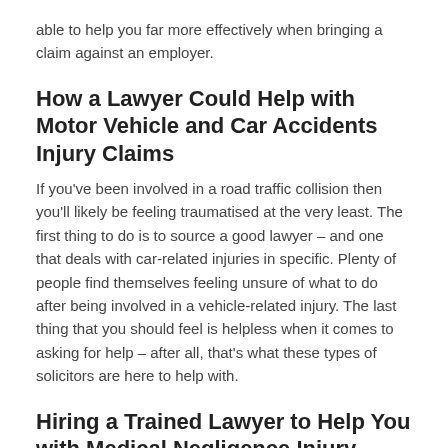able to help you far more effectively when bringing a claim against an employer.
How a Lawyer Could Help with Motor Vehicle and Car Accidents Injury Claims
If you've been involved in a road traffic collision then you'll likely be feeling traumatised at the very least. The first thing to do is to source a good lawyer – and one that deals with car-related injuries in specific. Plenty of people find themselves feeling unsure of what to do after being involved in a vehicle-related injury. The last thing that you should feel is helpless when it comes to asking for help – after all, that's what these types of solicitors are here to help with.
Hiring a Trained Lawyer to Help You with Medical Negligence Injury Claims
Medical accidents happen from time to time and even